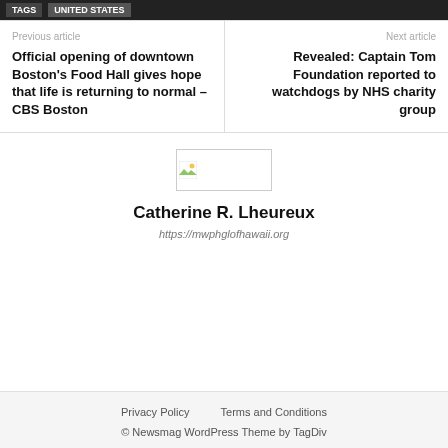TAGS   UNITED STATES
Previous article
Official opening of downtown Boston's Food Hall gives hope that life is returning to normal – CBS Boston
Next article
Revealed: Captain Tom Foundation reported to watchdogs by NHS charity group
[Figure (photo): Small broken/placeholder image thumbnail]
Catherine R. Lheureux
https://mwphglofhawaii.org
Privacy Policy   Terms and Conditions
© Newsmag WordPress Theme by TagDiv